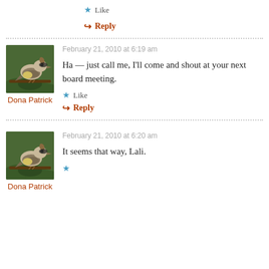Like
Reply
February 21, 2010 at 6:19 am
Ha — just call me, I'll come and shout at your next board meeting.
Dona Patrick
Like
Reply
February 21, 2010 at 6:20 am
It seems that way, Lali.
Dona Patrick